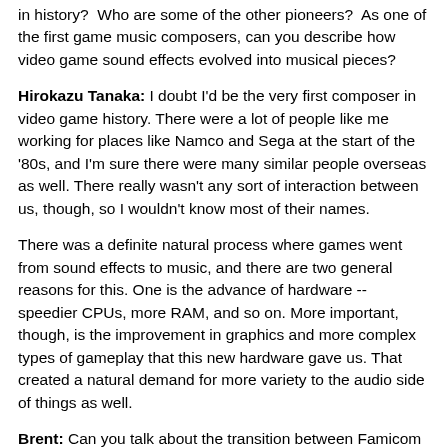in history? Who are some of the other pioneers? As one of the first game music composers, can you describe how video game sound effects evolved into musical pieces?
Hirokazu Tanaka: I doubt I'd be the very first composer in video game history. There were a lot of people like me working for places like Namco and Sega at the start of the '80s, and I'm sure there were many similar people overseas as well. There really wasn't any sort of interaction between us, though, so I wouldn't know most of their names.
There was a definite natural process where games went from sound effects to music, and there are two general reasons for this. One is the advance of hardware -- speedier CPUs, more RAM, and so on. More important, though, is the improvement in graphics and more complex types of gameplay that this new hardware gave us. That created a natural demand for more variety to the audio side of things as well.
Brent: Can you talk about the transition between Famicom and Super Famicom, and how that influenced your